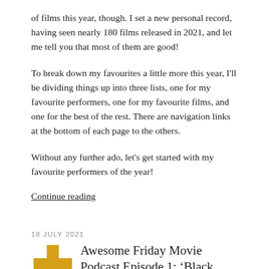of films this year, though. I set a new personal record, having seen nearly 180 films released in 2021, and let me tell you that most of them are good!
To break down my favourites a little more this year, I'll be dividing things up into three lists, one for my favourite performers, one for my favourite films, and one for the best of the rest. There are navigation links at the bottom of each page to the others.
Without any further ado, let's get started with my favourite performers of the year!
Continue reading
18 JULY 2021
[Figure (logo): Gold plus sign icon]
Awesome Friday Movie Podcast Episode 1: ‘Black Widow’ & ‘Loki’